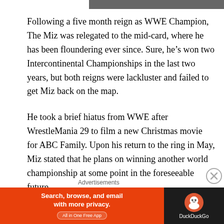[Figure (photo): Partial image visible at top of page, cropped]
Following a five month reign as WWE Champion, The Miz was relegated to the mid-card, where he has been floundering ever since. Sure, he's won two Intercontinental Championships in the last two years, but both reigns were lackluster and failed to get Miz back on the map.
He took a brief hiatus from WWE after WrestleMania 29 to film a new Christmas movie for ABC Family. Upon his return to the ring in May, Miz stated that he plans on winning another world championship at some point in the foreseeable future.
Advertisements
[Figure (screenshot): DuckDuckGo advertisement banner: orange left panel with text 'Search, browse, and email with more privacy. All in One Free App' and dark right panel with DuckDuckGo duck logo and 'DuckDuckGo' text]